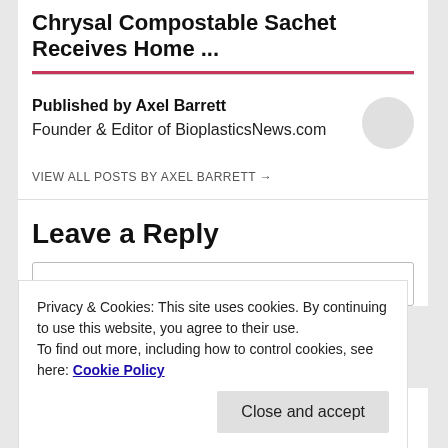Chrysal Compostable Sachet Receives Home ...
Published by Axel Barrett
Founder & Editor of BioplasticsNews.com
VIEW ALL POSTS BY AXEL BARRETT →
Leave a Reply
Privacy & Cookies: This site uses cookies. By continuing to use this website, you agree to their use.
To find out more, including how to control cookies, see here: Cookie Policy
Close and accept
BUY A SUBSCRIPTION HERE
[Figure (logo): Mastercard logo - two overlapping circles (red and orange)]
[Figure (logo): Visa logo - blue and white with VISA text]
[Figure (logo): American Express logo - blue gradient]